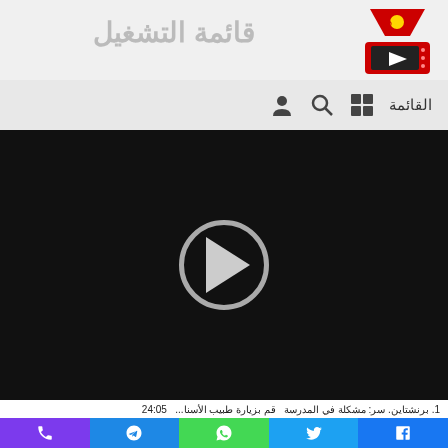قائمة التشغيل
[Figure (logo): App logo with red TV/player icon and music note funnel]
[Figure (screenshot): Navigation bar with grid icon, search icon, user icon, and القائمة label]
[Figure (screenshot): Video player with black background and circular play button]
[Figure (screenshot): Red video controls bar with fullscreen icon, 00:00 time, progress bar, 00:00 time, and play button]
1. برنشتاين. سر: مشكلة في المدرسة  قم بزيارة طبيب الأسنا...  24:05
[Figure (screenshot): Social sharing bar with phone (purple), Telegram (blue), WhatsApp (green), Twitter (light blue), Facebook (blue) buttons]